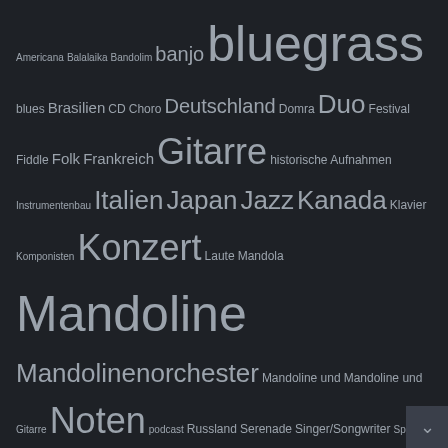Americana Balalaika Bandolim banjo bluegrass blues Brasilien CD Choro Deutschland Domra Duo Festival Fiddle Folk Frankreich Gitarre historische Aufnahmen Instrumentenbau Italien Japan Jazz Kanada Klavier Komponisten Konzert Laute Mandola Mandoline Mandolinenorchester Mandoline und Mandoline und Gitarre Noten podcast Russland Serenade Singer/Songwriter Spanien Ukulele USA Venezuela Violine youtube Zupfensemble Zupforchester
Kategorien
Kategorie auswählen
Theme by Colorlib Powered by WordPress